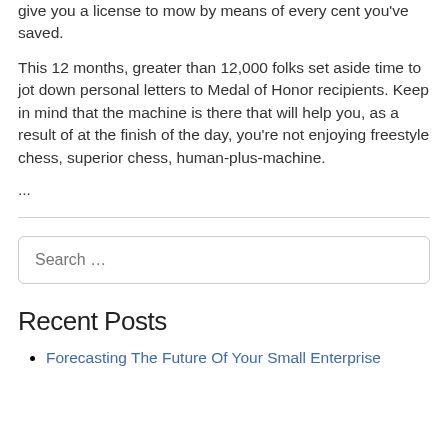give you a license to mow by means of every cent you've saved.
This 12 months, greater than 12,000 folks set aside time to jot down personal letters to Medal of Honor recipients. Keep in mind that the machine is there that will help you, as a result of at the finish of the day, you’re not enjoying freestyle chess, superior chess, human-plus-machine.
...
Recent Posts
Forecasting The Future Of Your Small Enterprise